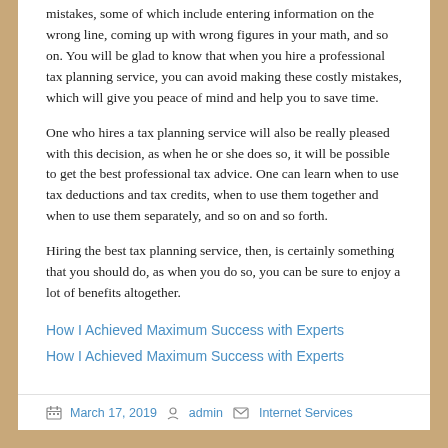mistakes, some of which include entering information on the wrong line, coming up with wrong figures in your math, and so on. You will be glad to know that when you hire a professional tax planning service, you can avoid making these costly mistakes, which will give you peace of mind and help you to save time.
One who hires a tax planning service will also be really pleased with this decision, as when he or she does so, it will be possible to get the best professional tax advice. One can learn when to use tax deductions and tax credits, when to use them together and when to use them separately, and so on and so forth.
Hiring the best tax planning service, then, is certainly something that you should do, as when you do so, you can be sure to enjoy a lot of benefits altogether.
How I Achieved Maximum Success with Experts
How I Achieved Maximum Success with Experts
March 17, 2019   admin   Internet Services